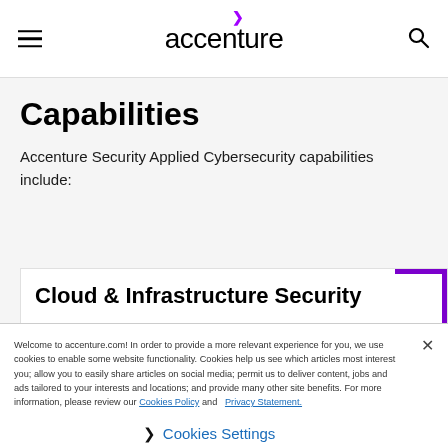accenture
Capabilities
Accenture Security Applied Cybersecurity capabilities include:
Cloud & Infrastructure Security
Welcome to accenture.com! In order to provide a more relevant experience for you, we use cookies to enable some website functionality. Cookies help us see which articles most interest you; allow you to easily share articles on social media; permit us to deliver content, jobs and ads tailored to your interests and locations; and provide many other site benefits. For more information, please review our Cookies Policy and Privacy Statement.
❯ Cookies Settings
Download Accenture Foresight app